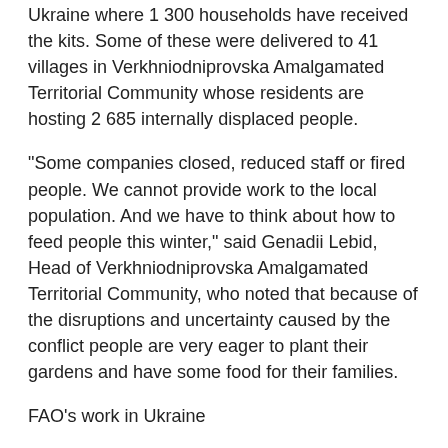Ukraine where 1 300 households have received the kits. Some of these were delivered to 41 villages in Verkhniodniprovska Amalgamated Territorial Community whose residents are hosting 2 685 internally displaced people.
"Some companies closed, reduced staff or fired people. We cannot provide work to the local population. And we have to think about how to feed people this winter," said Genadii Lebid, Head of Verkhniodniprovska Amalgamated Territorial Community, who noted that because of the disruptions and uncertainty caused by the conflict people are very eager to plant their gardens and have some food for their families.
FAO's work in Ukraine
FAO has been operating in Ukraine since 2003 and following the start of the war, the Organization has developed and updated its Rapid Response Plan (RRP) to provide agriculture assistance and ensure food security...